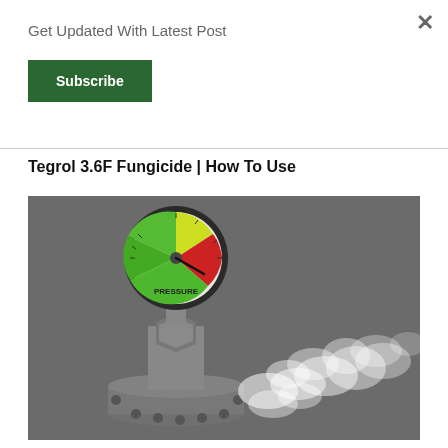Get Updated With Latest Post
Subscribe
Tegrol 3.6F Fungicide | How To Use
[Figure (photo): A pressure gauge with green, yellow, and red zones mounted on a metal pipe valve, with white spray/mist releasing from the pipe fitting below it, against a grey background.]